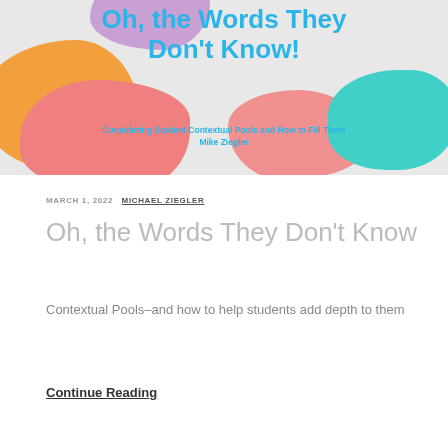[Figure (illustration): Colorful blog banner with abstract blob shapes in purple, orange, pink, salmon, and teal on a light gray background. Title text reads 'Oh, the Words They Don't Know!' with subtitle 'Considering Student Contextual Pools and How to Fill Them' and author 'Mike Ziegler' in blue fonts.]
MARCH 1, 2022  MICHAEL ZIEGLER
Oh, the Words They Don't Know
Contextual Pools–and how to help students add depth to them
Continue Reading